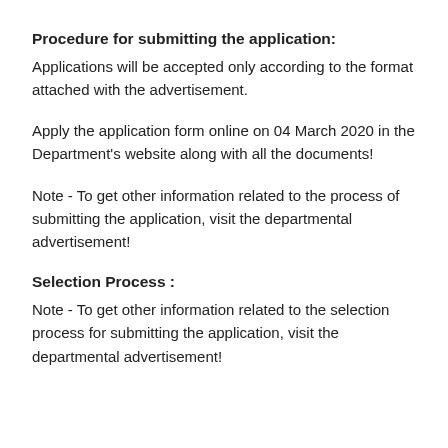Procedure for submitting the application:
Applications will be accepted only according to the format attached with the advertisement.
Apply the application form online on 04 March 2020 in the Department's website along with all the documents!
Note - To get other information related to the process of submitting the application, visit the departmental advertisement!
Selection Process :
Note - To get other information related to the selection process for submitting the application, visit the departmental advertisement!